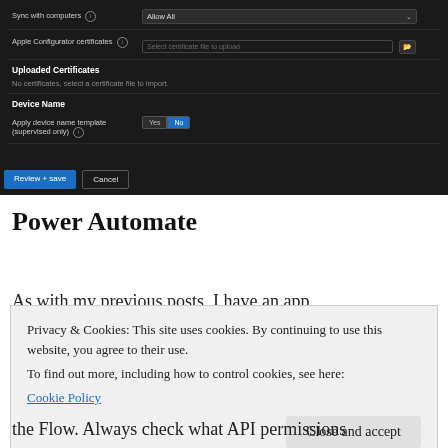[Figure (screenshot): Dark-themed web form UI showing device management settings: Sync with computers (Allow All dropdown), Apple Configurator certificates (file upload), Uploaded Certificates section (no certificates message), Device Name section with Apply device name template toggle (Yes/No, No selected), and Review + save / Cancel buttons at bottom.]
Power Automate
As with my previous posts, I have an app
Privacy & Cookies: This site uses cookies. By continuing to use this website, you agree to their use.
To find out more, including how to control cookies, see here:
Cookie Policy
[Close and accept]
the Flow. Always check what API permissions